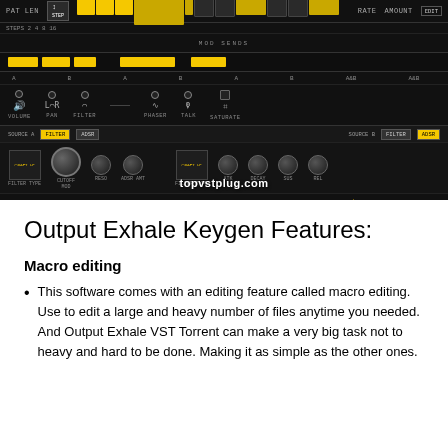[Figure (screenshot): Screenshot of Output Exhale VST synthesizer plugin interface showing sequencer, mod sends, effects (volume, pan, filter, phaser, talk, saturate), source A and B filter sections with knobs for cutoff, reso, ADSR, and a watermark 'topvstplug.com']
Output Exhale Keygen Features:
Macro editing
This software comes with an editing feature called macro editing. Use to edit a large and heavy number of files anytime you needed. And Output Exhale VST Torrent can make a very big task not to heavy and hard to be done. Making it as simple as the other ones.